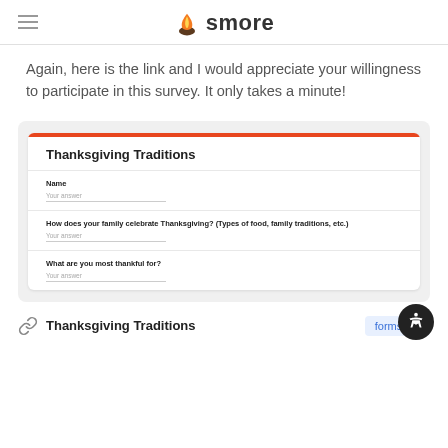smore
Again, here is the link and I would appreciate your willingness to participate in this survey. It only takes a minute!
[Figure (screenshot): Screenshot of a Google Form titled 'Thanksgiving Traditions' with fields: Name (Your answer), How does your family celebrate Thanksgiving? (Types of food, family traditions, etc.) (Your answer), What are you most thankful for? (Your answer)]
Thanksgiving Traditions
forms.gle